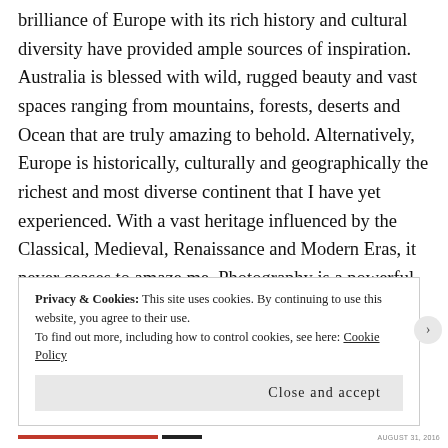brilliance of Europe with its rich history and cultural diversity have provided ample sources of inspiration. Australia is blessed with wild, rugged beauty and vast spaces ranging from mountains, forests, deserts and Ocean that are truly amazing to behold. Alternatively, Europe is historically, culturally and geographically the richest and most diverse continent that I have yet experienced. With a vast heritage influenced by the Classical, Medieval, Renaissance and Modern Eras, it never ceases to amaze me. Photography is a powerful medium that can express visually an individuals' life experience to manifest something poignant within ones
Privacy & Cookies: This site uses cookies. By continuing to use this website, you agree to their use.
To find out more, including how to control cookies, see here: Cookie Policy
Close and accept